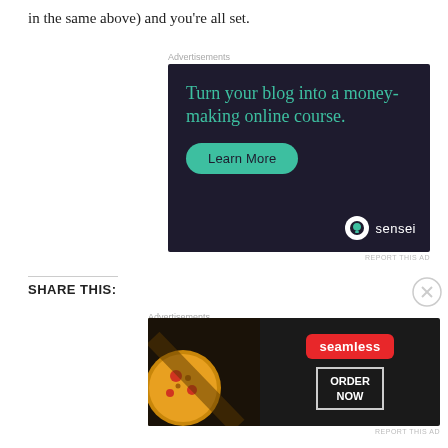in the same above) and you're all set.
[Figure (illustration): Advertisement banner for Sensei: dark background with teal text reading 'Turn your blog into a money-making online course.' with a teal 'Learn More' button and Sensei logo.]
Advertisements
REPORT THIS AD
SHARE THIS:
[Figure (illustration): Advertisement banner for Seamless food delivery: dark background with pizza image, red Seamless badge, and 'ORDER NOW' bordered button.]
Advertisements